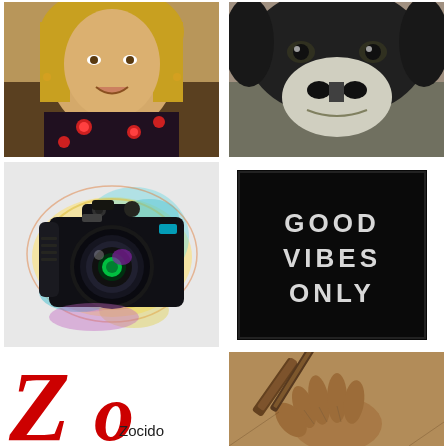[Figure (photo): Close-up photo of a blonde woman smiling, wearing a floral black dress with red flowers]
[Figure (photo): Close-up photo of a dog's face, black and white dog looking at camera]
[Figure (illustration): Colorful artistic illustration of a DSLR camera with watercolor splashes in yellow, blue, purple and teal around it]
[Figure (other): Black square graphic with white text reading GOOD VIBES ONLY in bold letters]
[Figure (illustration): Large red letter Z with smaller red letters, and text 'Zocido' below — logo/brand mark]
[Figure (illustration): Sepia-toned sketch illustration of a hand holding a pen, writing]